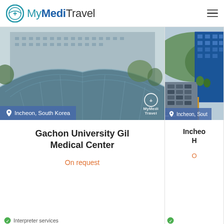MyMediTravel
[Figure (photo): Gachon University Gil Medical Center building exterior - modern glass and curved architecture in Incheon, South Korea. MyMediTravel watermark visible.]
Gachon University Gil Medical Center
On request
[Figure (photo): Incheon hospital building exterior - blue glass tower with parking lot and trees visible from aerial view in Incheon, South Korea.]
Incheo... H...
O...